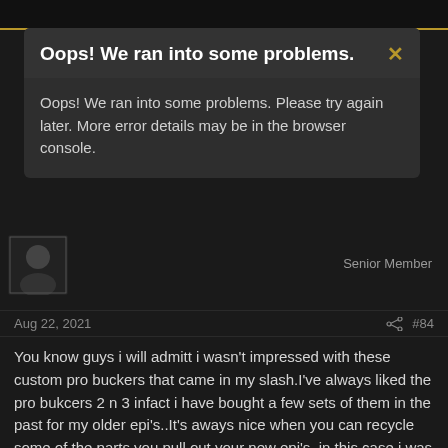[Figure (screenshot): Error modal dialog with dark background. Header: 'Oops! We ran into some problems.' with a gold X close button. Body text: 'Oops! We ran into some problems. Please try again later. More error details may be in the browser console.']
Senior Member
Aug 22, 2021   #84
You know guys i will admitt i wasn't impressed with these custom pro buckers that came in my slash.I've always liked the pro bukcers 2 n 3 infact i have bought a few sets of them in the past for my older epi's..It's aways nice when you can recycle some of the parts you pull out your new epi's. in this case i was able to reuse the custom pro buckers in my 50's gold top. though i didn't think the custom PBs sounded too good in the slash they deff sound really well in the gold top. that saves me money in the long run. i'd have to say after spending some time with the custom PB's they aren't bad. I still don't hear a diff in the reg PB's 2 n 3 and these pups....